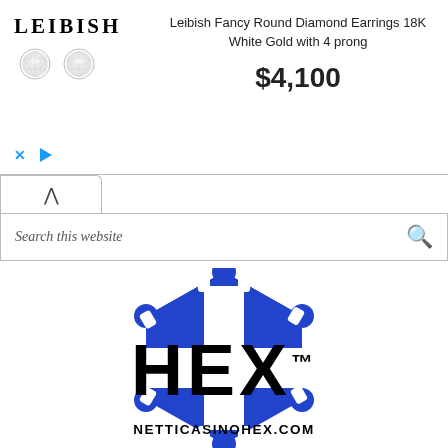[Figure (screenshot): Leibish diamond earrings advertisement banner with logo, two diamond earring images, product title 'Leibish Fancy Round Diamond Earrings 18K White Gold with 4 prong', price $4,100, and ad controls (X and play button)]
Search this website
[Figure (logo): HEX casino logo: blue hexagonal shape with white cross/plus pattern inside, resembling a Finnish flag motif within a rounded hexagon]
HEX™
NETTICASINOHEX.COM